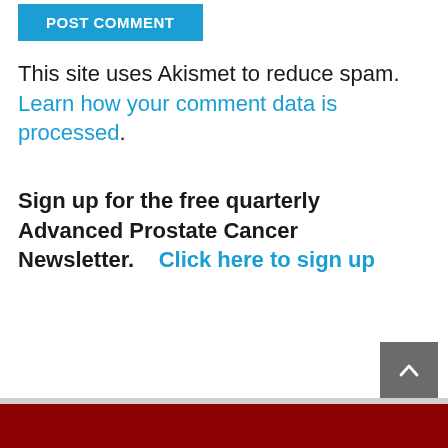POST COMMENT
This site uses Akismet to reduce spam. Learn how your comment data is processed.
Sign up for the free quarterly Advanced Prostate Cancer Newsletter.    Click here to sign up